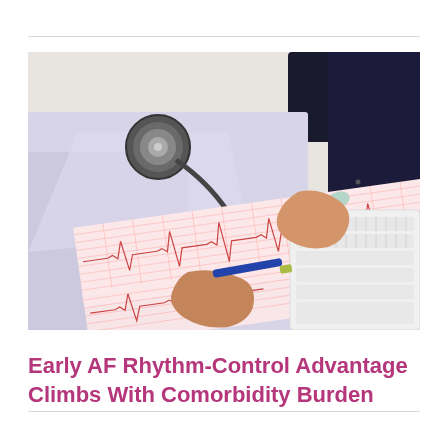[Figure (photo): A doctor or medical professional in a white coat with a stethoscope around their neck, leaning over a desk and writing on ECG/EKG paper printout with a blue pen, with a computer keyboard visible in the background.]
Early AF Rhythm-Control Advantage Climbs With Comorbidity Burden